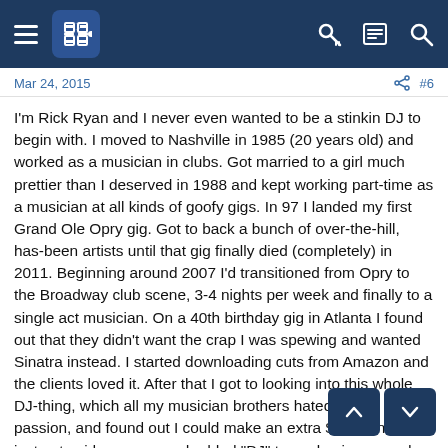Navigation header with hamburger menu, logo, key icon, list icon, and search icon
Mar 24, 2015   #6
I'm Rick Ryan and I never even wanted to be a stinkin DJ to begin with. I moved to Nashville in 1985 (20 years old) and worked as a musician in clubs. Got married to a girl much prettier than I deserved in 1988 and kept working part-time as a musician at all kinds of goofy gigs. In 97 I landed my first Grand Ole Opry gig. Got to back a bunch of over-the-hill, has-been artists until that gig finally died (completely) in 2011. Beginning around 2007 I'd transitioned from Opry to the Broadway club scene, 3-4 nights per week and finally to a single act musician. On a 40th birthday gig in Atlanta I found out that they didn't want the crap I was spewing and wanted Sinatra instead. I started downloading cuts from Amazon and the clients loved it. After that I got to looking into this whole DJ-thing, which all my musician brothers hated with a passion, and found out I could make an extra $300 a night if I just put aside my ego and added "DJ" to my business card.
Realizing I was a fish out of water, I started sniffing for DJ gigs on craigslist and was advertising outside of the Nashville area. My first wedding was a 350-guest event in St. Louis at a military base in